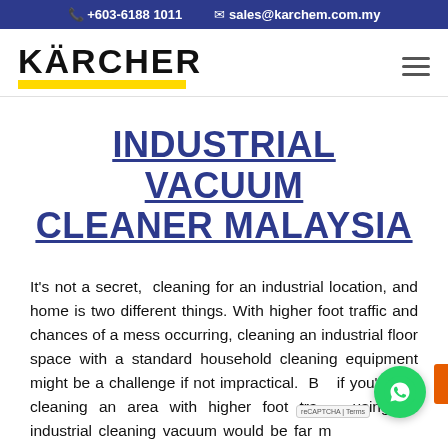+603-6188 1011   sales@karchem.com.my
[Figure (logo): Kärcher logo with bold black text and yellow underline bar]
INDUSTRIAL VACUUM CLEANER MALAYSIA
It's not a secret, cleaning for an industrial location, and home is two different things. With higher foot traffic and chances of a mess occurring, cleaning an industrial floor space with a standard household cleaning equipment might be a challenge if not impractical. But if you're not cleaning an area with higher foot traffic, using an industrial cleaning vacuum would be far more practical for your location, as this would be more...